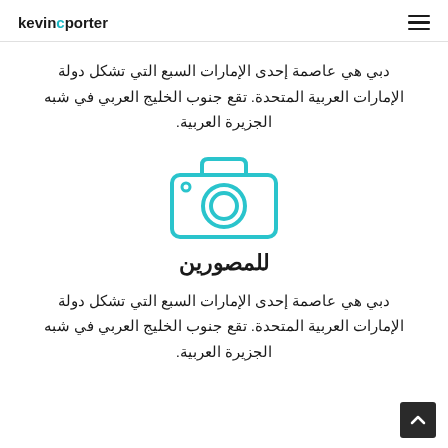kevincporter
دبي هي عاصمة إحدى الإمارات السبع التي تشكل دولة الإمارات العربية المتحدة. تقع جنوب الخليج العربي في شبه الجزيرة العربية.
[Figure (illustration): Camera icon outline in teal/cyan color]
للمصورين
دبي هي عاصمة إحدى الإمارات السبع التي تشكل دولة الإمارات العربية المتحدة. تقع جنوب الخليج العربي في شبه الجزيرة العربية.